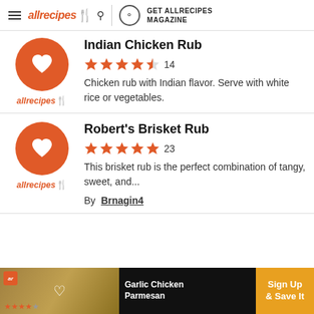allrecipes | GET ALLRECIPES MAGAZINE
Indian Chicken Rub
★★★★½ 14
Chicken rub with Indian flavor. Serve with white rice or vegetables.
Robert's Brisket Rub
★★★★★ 23
This brisket rub is the perfect combination of tangy, sweet, and...
By Brnagin4
[Figure (screenshot): Ad banner for Garlic Chicken Parmesan with Sign Up & Save It button]